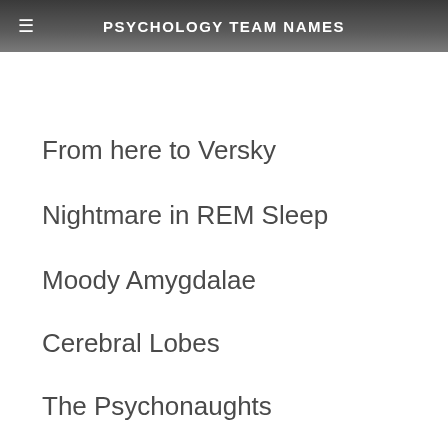PSYCHOLOGY TEAM NAMES
From here to Versky
Nightmare in REM Sleep
Moody Amygdalae
Cerebral Lobes
The Psychonaughts
Right Said Freud
Freud Eggs
Oppositional Defiants